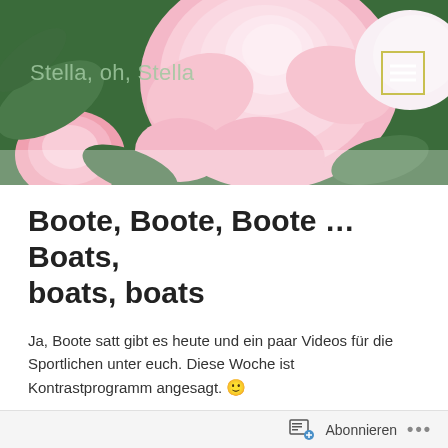[Figure (photo): Close-up photograph of pink roses with green leaves, used as blog header background]
Stella, oh, Stella
Boote, Boote, Boote … Boats, boats, boats
Ja, Boote satt gibt es heute und ein paar Videos für die Sportlichen unter euch. Diese Woche ist Kontrastprogramm angesagt. 🙂
… Yes, boats galore you are getting today and a few videos for the sporty types among you. This week has a programme full of contrasts.
Abonnieren  •••